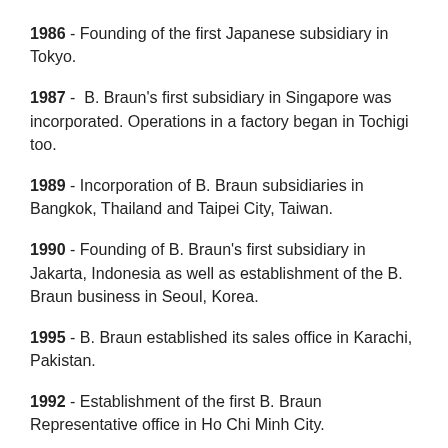1986 - Founding of the first Japanese subsidiary in Tokyo.
1987 - B. Braun's first subsidiary in Singapore was incorporated. Operations in a factory began in Tochigi too.
1989 - Incorporation of B. Braun subsidiaries in Bangkok, Thailand and Taipei City, Taiwan.
1990 - Founding of B. Braun's first subsidiary in Jakarta, Indonesia as well as establishment of the B. Braun business in Seoul, Korea.
1995 - B. Braun established its sales office in Karachi, Pakistan.
1992 - Establishment of the first B. Braun Representative office in Ho Chi Minh City.
1993 - B. Braun representative office is established and